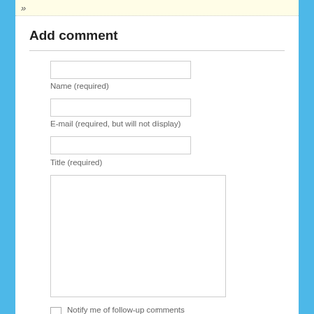»
Add comment
Name (required)
E-mail (required, but will not display)
Title (required)
Notify me of follow-up comments